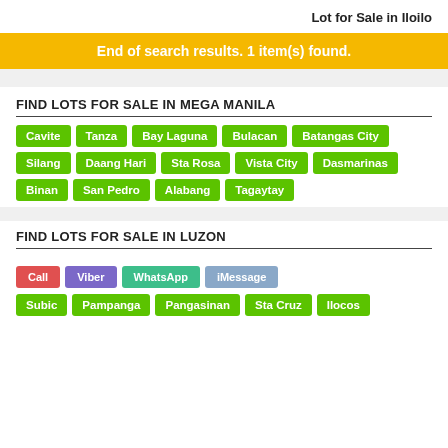Lot for Sale in Iloilo
End of search results. 1 item(s) found.
FIND LOTS FOR SALE IN MEGA MANILA
Cavite
Tanza
Bay Laguna
Bulacan
Batangas City
Silang
Daang Hari
Sta Rosa
Vista City
Dasmarinas
Binan
San Pedro
Alabang
Tagaytay
FIND LOTS FOR SALE IN LUZON
Call | Viber | WhatsApp | iMessage
Subic
Pampanga
Pangasinan
Sta Cruz
Ilocos